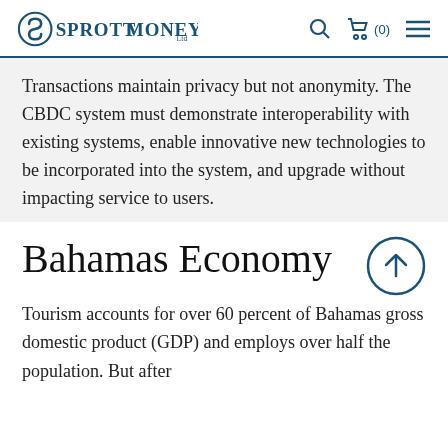SPROTTMONEY
Transactions maintain privacy but not anonymity. The CBDC system must demonstrate interoperability with existing systems, enable innovative new technologies to be incorporated into the system, and upgrade without impacting service to users.
Bahamas Economy
Tourism accounts for over 60 percent of Bahamas gross domestic product (GDP) and employs over half the population. But after